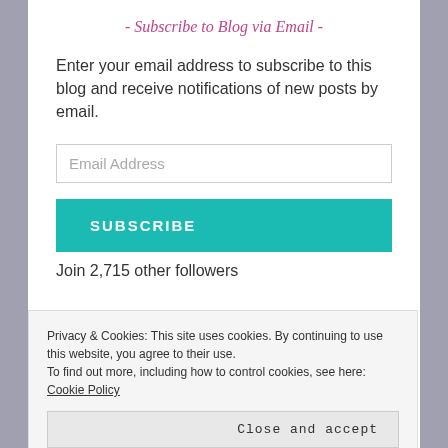- Subscribe to Blog via Email -
Enter your email address to subscribe to this blog and receive notifications of new posts by email.
Email Address
SUBSCRIBE
Join 2,715 other followers
- Silver Linings -
Privacy & Cookies: This site uses cookies. By continuing to use this website, you agree to their use.
To find out more, including how to control cookies, see here: Cookie Policy
Close and accept
Through Poetry